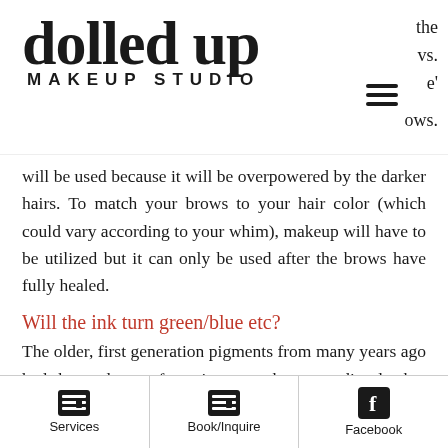dolled up MAKEUP STUDIO
will be used because it will be overpowered by the darker hairs. To match your brows to your hair color (which could vary according to your whim), makeup will have to be utilized but it can only be used after the brows have fully healed.
Will the ink turn green/blue etc?
The older, first generation pigments from many years ago had the tendency of causing some brows to discolor but we use only the newest and best cosmetic tattoo inks in the market that deliver true to color results. Our artist is also very knowledgeable in color mixing which further ensures that your desired results
Services | Book/Inquire | Facebook